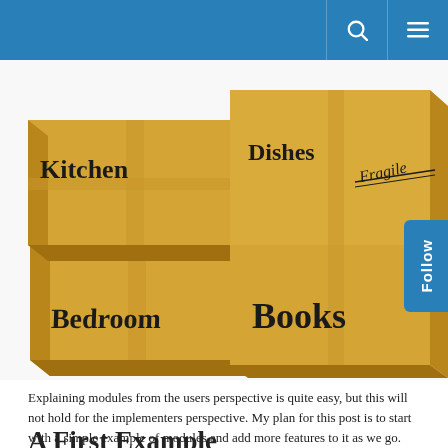[Figure (illustration): Illustration of stacked cardboard moving boxes labeled Kitchen, Dishes, Fragile, Books, and Bedroom in handwritten-style text. A blue 'Follow' tab appears on the right side.]
Explaining modules from the users perspective is quite easy, but this will not hold for the implementers perspective. My plan for this post is to start with a simple example of modules and add more features to it as we go.
A First Example